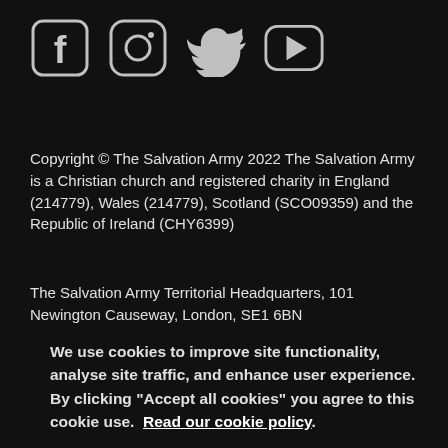[Figure (illustration): Four social media icons in white on dark background: Facebook, Instagram, Twitter, YouTube]
Copyright © The Salvation Army 2022 The Salvation Army is a Christian church and registered charity in England (214779), Wales (214779), Scotland (SCO09359) and the Republic of Ireland (CHY6399)
The Salvation Army Territorial Headquarters, 101 Newington Causeway, London, SE1 6BN
We use cookies to improve site functionality, analyse site traffic, and enhance user experience. By clicking "Accept all cookies" you agree to this cookie use.  Read our cookie policy.